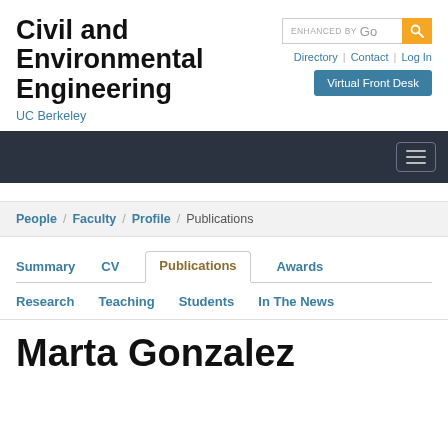Civil and Environmental Engineering
UC Berkeley
[Figure (screenshot): Search box with 'ENHANCED BY Go' text and yellow search button icon]
Directory | Contact | Log In
Virtual Front Desk
[Figure (other): Dark navigation bar with hamburger menu icon]
People / Faculty / Profile / Publications
Summary   CV   Publications   Awards
Research   Teaching   Students   In The News
Marta Gonzalez